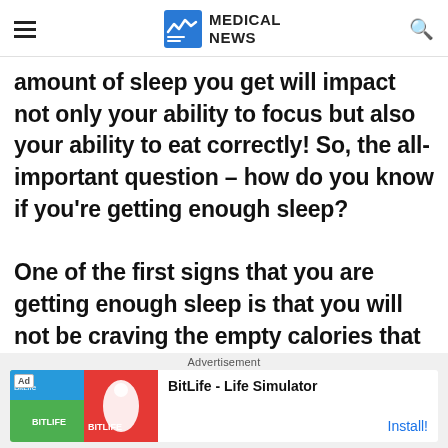MEDICAL NEWS
amount of sleep you get will impact not only your ability to focus but also your ability to eat correctly! So, the all-important question – how do you know if you're getting enough sleep?

One of the first signs that you are getting enough sleep is that you will not be craving the empty calories that are
Advertisement
[Figure (other): Advertisement banner for BitLife - Life Simulator app with install button]